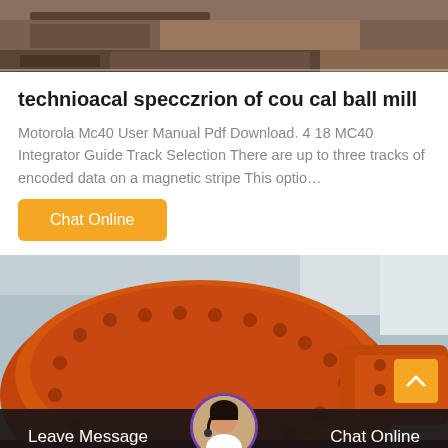[Figure (photo): Industrial machinery photo at top of page, dark brown tones showing manufacturing equipment]
technioacal specczrion of cou cal ball mill
Motorola Mc40 User Manual Pdf Download. 4 18 MC40 Integrator Guide Track Selection There are up to three tracks of encoded data on a magnetic stripe This optio…
Chat Online
[Figure (photo): Large orange industrial ball mill machinery photographed in a factory/warehouse setting]
Leave Message
Chat Online